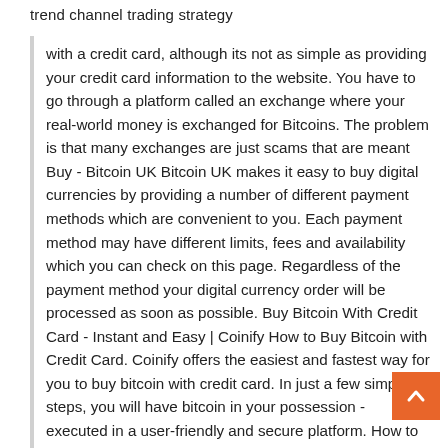trend channel trading strategy
with a credit card, although its not as simple as providing your credit card information to the website. You have to go through a platform called an exchange where your real-world money is exchanged for Bitcoins. The problem is that many exchanges are just scams that are meant Buy - Bitcoin UK Bitcoin UK makes it easy to buy digital currencies by providing a number of different payment methods which are convenient to you. Each payment method may have different limits, fees and availability which you can check on this page. Regardless of the payment method your digital currency order will be processed as soon as possible. Buy Bitcoin With Credit Card - Instant and Easy | Coinify How to Buy Bitcoin with Credit Card. Coinify offers the easiest and fastest way for you to buy bitcoin with credit card. In just a few simple steps, you will have bitcoin in your possession - executed in a user-friendly and secure platform. How to Buy Bitcoin with a Credit Card? - CoinNewsSpan Buy Bitcoin with a credit card through Bitpanda It is a trading platform that offers multiple payment options at relatively low fees. Bitpanda is an Austrian startup company that was